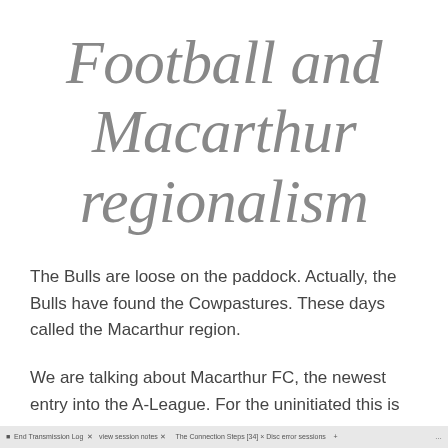Football and Macarthur regionalism
The Bulls are loose on the paddock. Actually, the Bulls have found the Cowpastures. These days called the Macarthur region.
We are talking about Macarthur FC, the newest entry into the A-League. For the uninitiated this is soccer.
browser taskbar / footer bar